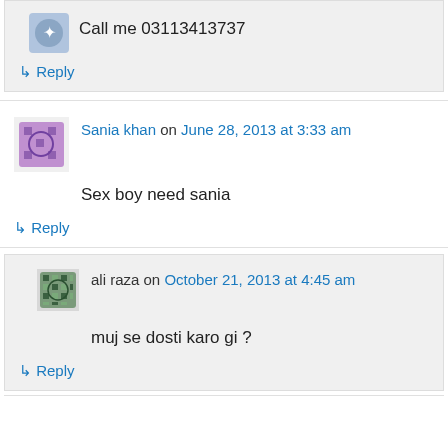Call me 03113413737
↳ Reply
Sania khan on June 28, 2013 at 3:33 am
Sex boy need sania
↳ Reply
ali raza on October 21, 2013 at 4:45 am
muj se dosti karo gi ?
↳ Reply